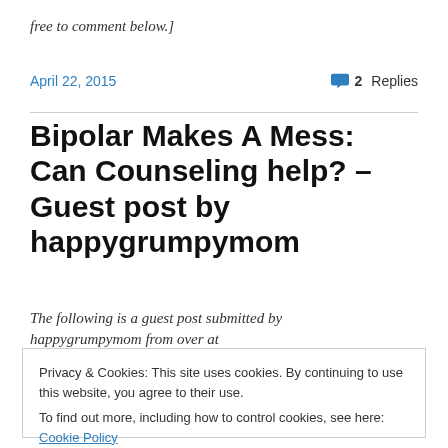free to comment below.]
April 22, 2015   💬 2 Replies
Bipolar Makes A Mess: Can Counseling help? – Guest post by happygrumpymom
The following is a guest post submitted by happygrumpymom from over at
Privacy & Cookies: This site uses cookies. By continuing to use this website, you agree to their use.
To find out more, including how to control cookies, see here: Cookie Policy
Close and accept